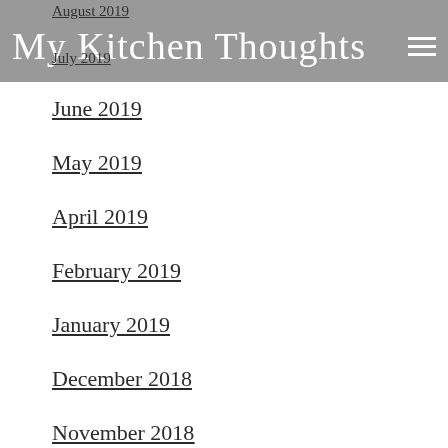My Kitchen Thoughts
August 2019
July 2019
June 2019
May 2019
April 2019
February 2019
January 2019
December 2018
November 2018
October 2018
September 2018
August 2018
July 2018